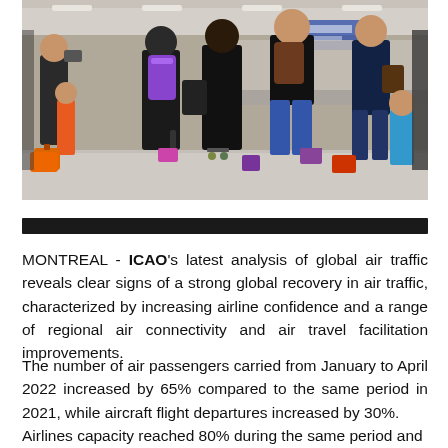[Figure (photo): Airport terminal scene showing travelers with luggage including children and adults walking through a busy airport concourse with check-in counters in the background.]
MONTREAL - ICAO's latest analysis of global air traffic reveals clear signs of a strong global recovery in air traffic, characterized by increasing airline confidence and a range of regional air connectivity and air travel facilitation improvements.
The number of air passengers carried from January to April 2022 increased by 65% compared to the same period in 2021, while aircraft flight departures increased by 30%.
Airlines capacity reached 80% during the same period and...